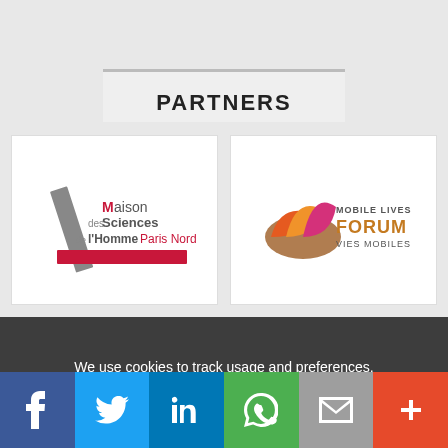PARTNERS
[Figure (logo): Maison des Sciences de l'Homme Paris Nord logo]
[Figure (logo): Mobile Lives Forum Vies Mobiles logo]
We use cookies to track usage and preferences.
I Understand
Social share bar: Facebook, Twitter, LinkedIn, WhatsApp, Email, More